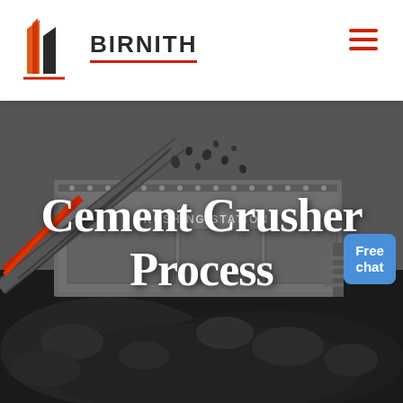[Figure (logo): Birnith company logo: orange/red building/pillar icon with text BIRNITH and red underline]
[Figure (photo): Industrial cement crusher machine (crushing station) photographed at worksite with large pile of crushed rocks/coal in foreground, dark moody industrial background]
Cement Crusher Process
Free chat